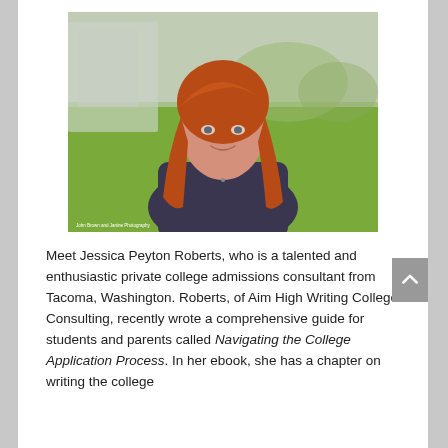[Figure (photo): Portrait photo of a woman with long red hair smiling, wearing a dark shirt, outdoors with green grass background. Small photo credit text at bottom left of image.]
Meet Jessica Peyton Roberts, who is a talented and enthusiastic private college admissions consultant from Tacoma, Washington. Roberts, of Aim High Writing College Consulting, recently wrote a comprehensive guide for students and parents called Navigating the College Application Process. In her ebook, she has a chapter on writing the college